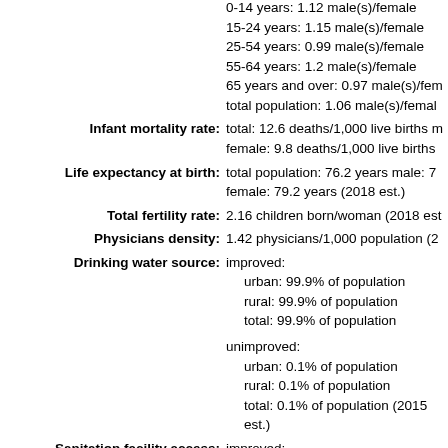0-14 years: 1.12 male(s)/female
15-24 years: 1.15 male(s)/female
25-54 years: 0.99 male(s)/female
55-64 years: 1.2 male(s)/female
65 years and over: 0.97 male(s)/female
total population: 1.06 male(s)/female
Infant mortality rate: total: 12.6 deaths/1,000 live births male: ... female: 9.8 deaths/1,000 live births
Life expectancy at birth: total population: 76.2 years male: 73... female: 79.2 years (2018 est.)
Total fertility rate: 2.16 children born/woman (2018 est.)
Physicians density: 1.42 physicians/1,000 population (2...
Drinking water source: improved: urban: 99.9% of population rural: 99.9% of population total: 99.9% of population unimproved: urban: 0.1% of population rural: 0.1% of population total: 0.1% of population (2015 est.)
Sanitation facility access: improved: urban: 97.6% of population (2015 est.) rural: 97.6% of population (2015 est.) total: 97.6% of population (2015 est.) unimproved: urban: 2.4% of population (2015 est.) rural: 2.4% of population (2015 est.) total: 2.4% of population (2015 est.)